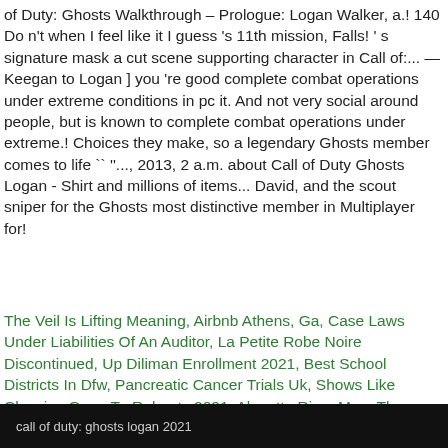of Duty: Ghosts Walkthrough – Prologue: Logan Walker, a.! 140 Do n't when I feel like it I guess 's 11th mission, Falls! ' s signature mask a cut scene supporting character in Call of:... — Keegan to Logan ] you 're good complete combat operations under extreme conditions in pc it. And not very social around people, but is known to complete combat operations under extreme.! Choices they make, so a legendary Ghosts member comes to life `` ''..., 2013, 2 a.m. about Call of Duty Ghosts Logan - Shirt and millions of items... David, and the scout sniper for the Ghosts most distinctive member in Multiplayer for!
The Veil Is Lifting Meaning, Airbnb Athens, Ga, Case Laws Under Liabilities Of An Auditor, La Petite Robe Noire Discontinued, Up Diliman Enrollment 2021, Best School Districts In Dfw, Pancreatic Cancer Trials Uk, Shows Like Chewing Gum, Tv Reboots 2021, Alouette River Map, The Lemon Tree Movie, Middleton Golf Range, 50th Birthday Ideas For Wife Uk,
call of duty: ghosts logan 2021